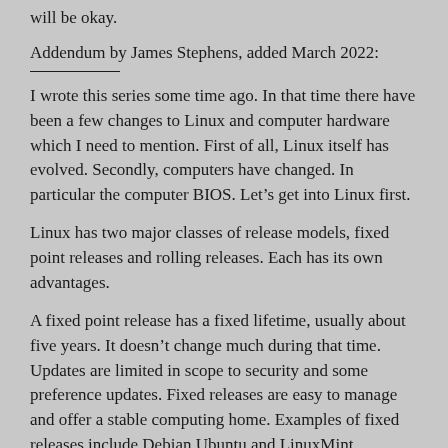will be okay.
Addendum by James Stephens, added March 2022:
I wrote this series some time ago. In that time there have been a few changes to Linux and computer hardware which I need to mention. First of all, Linux itself has evolved. Secondly, computers have changed. In particular the computer BIOS. Let’s get into Linux first.
Linux has two major classes of release models, fixed point releases and rolling releases. Each has its own advantages.
A fixed point release has a fixed lifetime, usually about five years. It doesn’t change much during that time. Updates are limited in scope to security and some preference updates. Fixed releases are easy to manage and offer a stable computing home. Examples of fixed releases include Debian Ubuntu and LinuxMint.
A rolling release has an indefinite lifetime. Once it’s installed